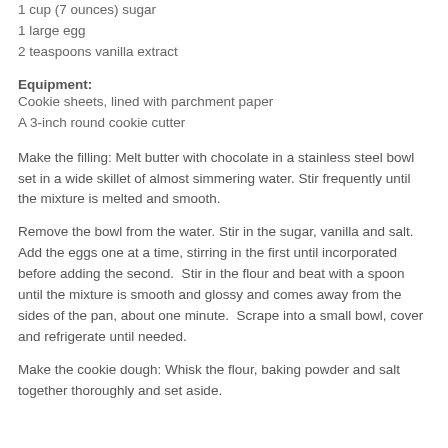1 cup (7 ounces) sugar
1 large egg
2 teaspoons vanilla extract
Equipment:
Cookie sheets, lined with parchment paper
A 3-inch round cookie cutter
Make the filling: Melt butter with chocolate in a stainless steel bowl set in a wide skillet of almost simmering water. Stir frequently until the mixture is melted and smooth.
Remove the bowl from the water. Stir in the sugar, vanilla and salt.  Add the eggs one at a time, stirring in the first until incorporated before adding the second.  Stir in the flour and beat with a spoon until the mixture is smooth and glossy and comes away from the sides of the pan, about one minute.  Scrape into a small bowl, cover and refrigerate until needed.
Make the cookie dough: Whisk the flour, baking powder and salt together thoroughly and set aside.